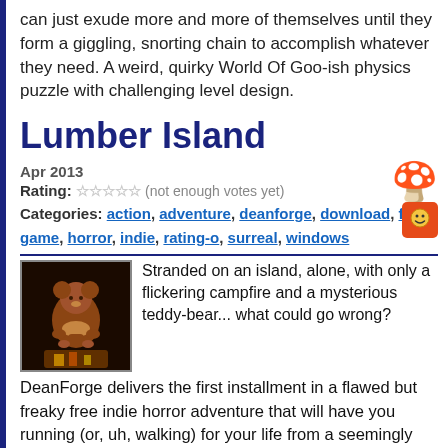can just exude more and more of themselves until they form a giggling, snorting chain to accomplish whatever they need. A weird, quirky World Of Goo-ish physics puzzle with challenging level design.
Lumber Island
Apr 2013
Rating: ☆☆☆☆☆ (not enough votes yet)
Categories: action, adventure, deanforge, download, free, game, horror, indie, rating-o, surreal, windows
[Figure (photo): Thumbnail image of a brown teddy bear sitting against a dark background with warm lighting]
Stranded on an island, alone, with only a flickering campfire and a mysterious teddy-bear... what could go wrong? DeanForge delivers the first installment in a flawed but freaky free indie horror adventure that will have you running (or, uh, walking) for your life from a seemingly unstoppable menace and a hidden legacy of violence.
Dark Tales: Edgar Allan